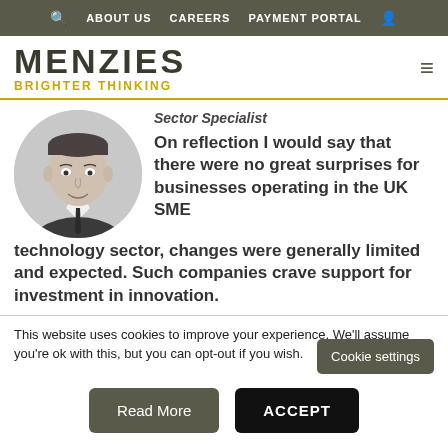ABOUT US   CAREERS   PAYMENT PORTAL
[Figure (logo): Menzies logo with tagline BRIGHTER THINKING]
Sector Specialist
[Figure (photo): Grayscale circular headshot of a man in a suit and tie, smiling]
On reflection I would say that there were no great surprises for businesses operating in the UK SME technology sector, changes were generally limited and expected. Such companies crave support for investment in innovation.
This website uses cookies to improve your experience. We'll assume you're ok with this, but you can opt-out if you wish.
Cookie settings
Read More
ACCEPT